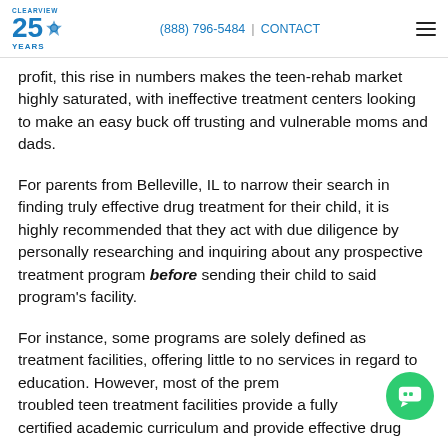CLEARVIEW 25 YEARS | (888) 796-5484 | CONTACT
profit, this rise in numbers makes the teen-rehab market highly saturated, with ineffective treatment centers looking to make an easy buck off trusting and vulnerable moms and dads.
For parents from Belleville, IL to narrow their search in finding truly effective drug treatment for their child, it is highly recommended that they act with due diligence by personally researching and inquiring about any prospective treatment program before sending their child to said program's facility.
For instance, some programs are solely defined as treatment facilities, offering little to no services in regard to education. However, most of the premier troubled teen treatment facilities provide a fully certified academic curriculum and provide effective drug